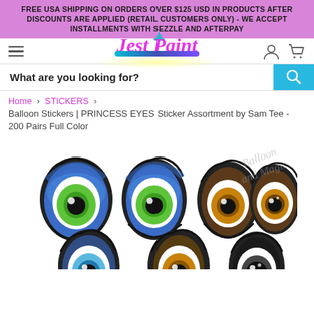FREE USA SHIPPING ON ORDERS OVER $125 USD IN PRODUCTS AFTER DISCOUNTS ARE APPLIED (RETAIL CUSTOMERS ONLY) - WE ACCEPT INSTALLMENTS WITH SEZZLE AND AFTERPAY
[Figure (logo): Jest Paint logo with decorative hat icon, magenta script lettering, and teal/purple brushstroke underline with yellow glow]
What are you looking for?
Home > STICKERS > Balloon Stickers | PRINCESS EYES Sticker Assortment by Sam Tee - 200 Pairs Full Color
[Figure (photo): Princess Eyes balloon stickers showing 8 cartoon-style eyes in various colors including green, blue, brown, and black. Watermark reads 'Balloon and Magic'.]